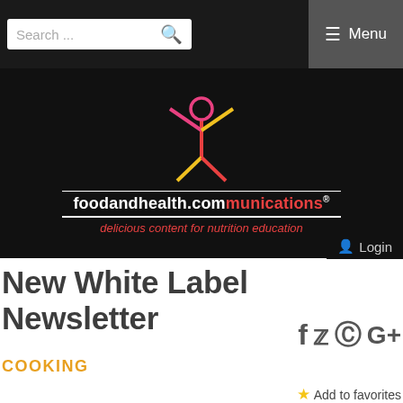Search ... ☰ Menu
[Figure (logo): foodandhealth.communications logo with stylized figure, tagline: delicious content for nutrition education]
Login
New White Label Newsletter
f 🐦 @ G+
COOKING
⭐ Add to favorites